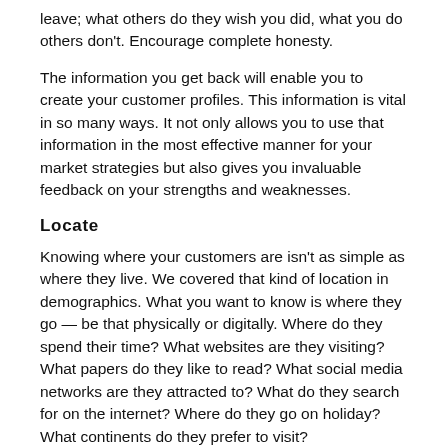leave; what others do they wish you did, what you do others don't. Encourage complete honesty.
The information you get back will enable you to create your customer profiles. This information is vital in so many ways. It not only allows you to use that information in the most effective manner for your market strategies but also gives you invaluable feedback on your strengths and weaknesses.
Locate
Knowing where your customers are isn't as simple as where they live. We covered that kind of location in demographics. What you want to know is where they go — be that physically or digitally. Where do they spend their time? What websites are they visiting? What papers do they like to read? What social media networks are they attracted to? What do they search for on the internet? Where do they go on holiday? What continents do they prefer to visit?
When you understand where your customer types are at any given time you can target them more effectively. You might be spending money on ad spaces in a national gym with loads of